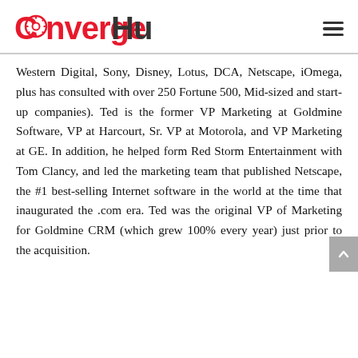ConvergeHub
Western Digital, Sony, Disney, Lotus, DCA, Netscape, iOmega, plus has consulted with over 250 Fortune 500, Mid-sized and start-up companies). Ted is the former VP Marketing at Goldmine Software, VP at Harcourt, Sr. VP at Motorola, and VP Marketing at GE. In addition, he helped form Red Storm Entertainment with Tom Clancy, and led the marketing team that published Netscape, the #1 best-selling Internet software in the world at the time that inaugurated the .com era. Ted was the original VP of Marketing for Goldmine CRM (which grew 100% every year) just prior to the acquisition.